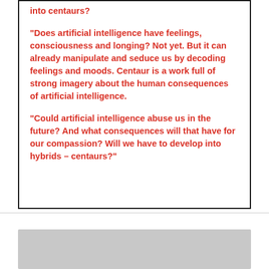into centaurs?
“Does artificial intelligence have feelings, consciousness and longing? Not yet. But it can already manipulate and seduce us by decoding feelings and moods. Centaur is a work full of strong imagery about the human consequences of artificial intelligence.
“Could artificial intelligence abuse us in the future? And what consequences will that have for our compassion? Will we have to develop into hybrids – centaurs?”
[Figure (photo): Gray bar at bottom of page, partially visible, with a small circular element on the left side.]